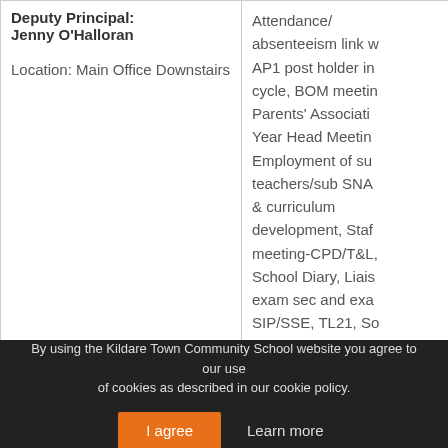| Role/Location | Responsibilities |
| --- | --- |
| Deputy Principal: Jenny O'Halloran

Location: Main Office Downstairs | Attendance/absenteeism link w AP1 post holder in cycle, BOM meetin Parents' Associati Year Head Meetin Employment of su teachers/sub SNA & curriculum development, Staf meeting-CPD/T&L, School Diary, Liais exam sec and exa SIP/SSE, TL21, So Meeting. |
By using the Kildare Town Community School website you agree to our use of cookies as described in our cookie policy.